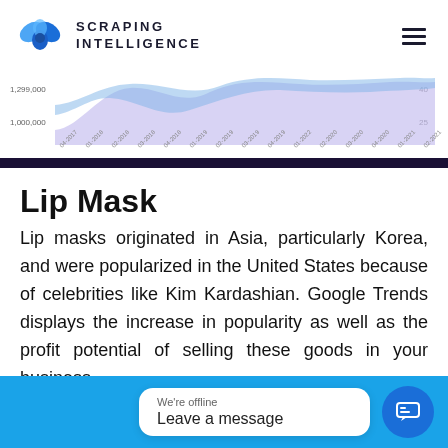SCRAPING INTELLIGENCE
[Figure (area-chart): Partial area chart showing trend data over time from approximately 2017 to 2021, with y-axis labels 1,299,000 and 1,000,000, showing a light blue/purple area chart with an upward trend]
Lip Mask
Lip masks originated in Asia, particularly Korea, and were popularized in the United States because of celebrities like Kim Kardashian. Google Trends displays the increase in popularity as well as the profit potential of selling these goods in your business.
We're offline
Leave a message